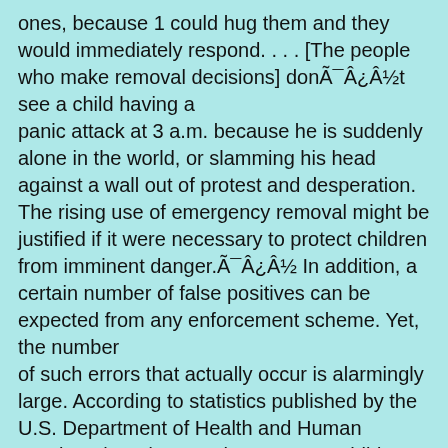ones, because 1 could hug them and they would immediately respond. . . . [The people who make removal decisions] donÃ¯Â¿Â½t see a child having a panic attack at 3 a.m. because he is suddenly alone in the world, or slamming his head against a wall out of protest and desperation. The rising use of emergency removal might be justified if it were necessary to protect children from imminent danger.Ã¯Â¿Â½ In addition, a certain number of false positives can be expected from any enforcement scheme. Yet, the number of such errors that actually occur is alarmingly large. According to statistics published by the U.S. Department of Health and Human Services (HHS), more than 100,000 children who were removed in 2001-more than one in three- were later found not to have been maltreated